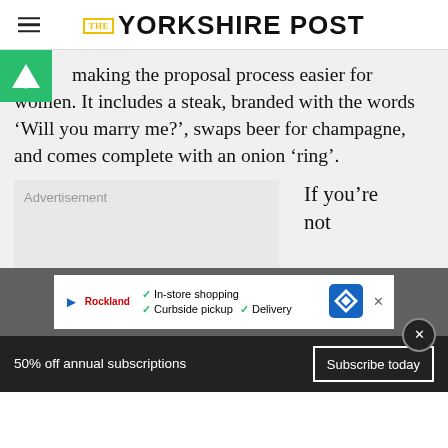THE YORKSHIRE POST
making the proposal process easier for women. It includes a steak, branded with the words ‘Will you marry me?’, swaps beer for champagne, and comes complete with an onion ‘ring’.
[Figure (other): Advertisement placeholder box with label 'Advertisement' in grey]
If you’re not
[Figure (other): Bottom advertisement bar showing: In-store shopping, Curbside pickup, Delivery with logos]
50% off annual subscriptions   Subscribe today